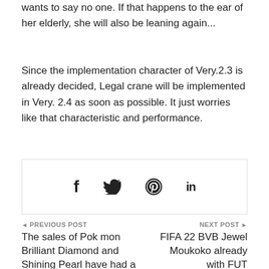wants to say no one. If that happens to the ear of her elderly, she will also be leaning again...
Since the implementation character of Very.2.3 is already decided, Legal crane will be implemented in Very. 2.4 as soon as possible. It just worries like that characteristic and performance.
[Figure (infographic): Social sharing bar with Facebook, Twitter, Pinterest, and LinkedIn icons inside a bordered box]
◄ PREVIOUS POST
The sales of Pok mon Brilliant Diamond and Shining Pearl have had a
NEXT POST ►
FIFA 22 BVB Jewel Moukoko already with FUT